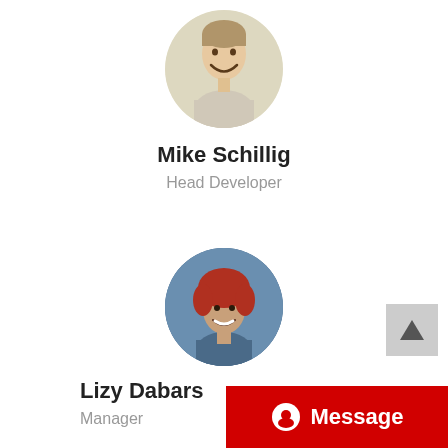[Figure (photo): Circular profile photo of Mike Schillig, a smiling young man, positioned at top center]
Mike Schillig
Head Developer
[Figure (photo): Circular profile photo of Lizy Dabars, a smiling woman with red hair, positioned at center]
Lizy Dabars
Manager
[Figure (other): Navigation arrow button (upward pointing triangle) in light gray square, bottom right area]
Message